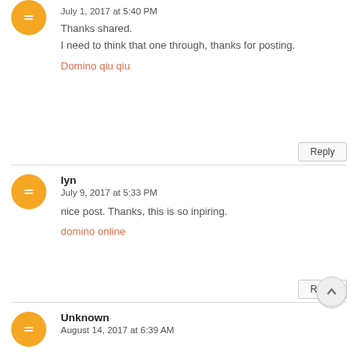July 1, 2017 at 5:40 PM
Thanks shared.
I need to think that one through, thanks for posting.
Domino qiu qiu
Reply
lyn
July 9, 2017 at 5:33 PM
nice post. Thanks, this is so inpiring.
domino online
Reply
Unknown
August 14, 2017 at 6:39 AM